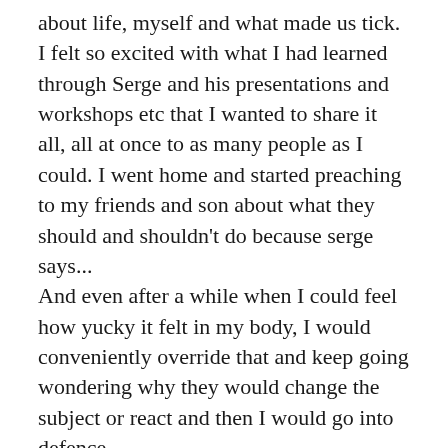about life, myself and what made us tick. I felt so excited with what I had learned through Serge and his presentations and workshops etc that I wanted to share it all, all at once to as many people as I could. I went home and started preaching to my friends and son about what they should and shouldn't do because serge says... And even after a while when I could feel how yucky it felt in my body, I would conveniently override that and keep going wondering why they would change the subject or react and then I would go into defence. I also would do this with food and as soon as Serge said this or that food has this affect or does that to your body, I would immediately stop eating it because Serge said, which I eventually